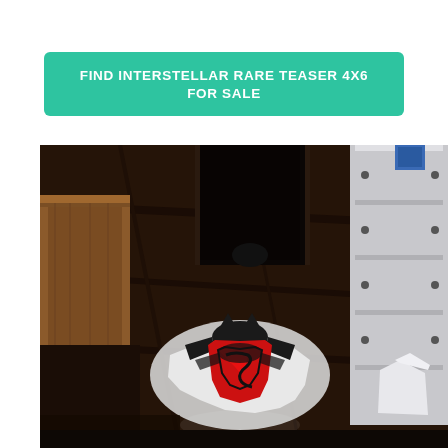FIND INTERSTELLAR RARE TEASER 4X6 FOR SALE
[Figure (photo): A dark room/workshop floor photographed from above, showing a Batman vs Superman logo (red and black S-shield with bat cowl overlay) on the floor. There is a wooden table on the left, a dark corridor in the background, and a white metallic shelving unit on the right.]